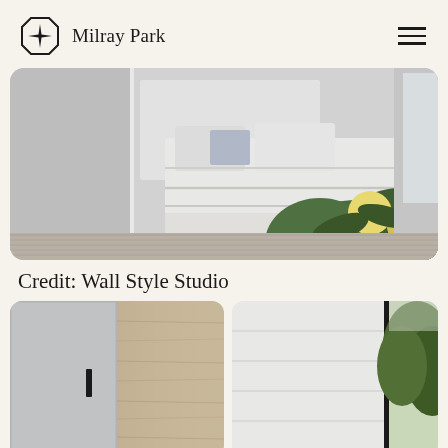Milray Park
[Figure (photo): Bedroom interior with white linen bedding, decorative pillows, white paneled walls, green foliage plant with cream flowers in foreground]
Credit: Wall Style Studio
[Figure (photo): Two side-by-side interior images: left showing a grey door with black handle and wooden panel, right showing white wall panels with black vertical frame and green trees visible]
[Figure (photo): White wall panel interior with black vertical framing and green trees visible through or beside the panel]